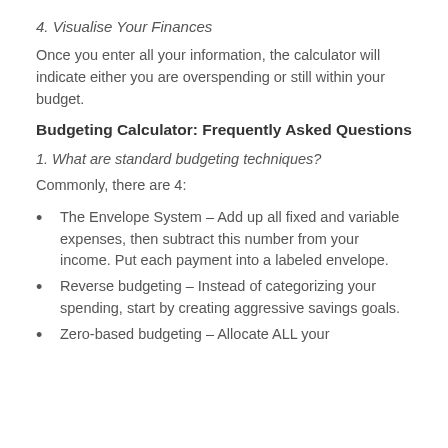4. Visualise Your Finances
Once you enter all your information, the calculator will indicate either you are overspending or still within your budget.
Budgeting Calculator: Frequently Asked Questions
1. What are standard budgeting techniques?
Commonly, there are 4:
The Envelope System – Add up all fixed and variable expenses, then subtract this number from your income. Put each payment into a labeled envelope.
Reverse budgeting – Instead of categorizing your spending, start by creating aggressive savings goals.
Zero-based budgeting – Allocate ALL your